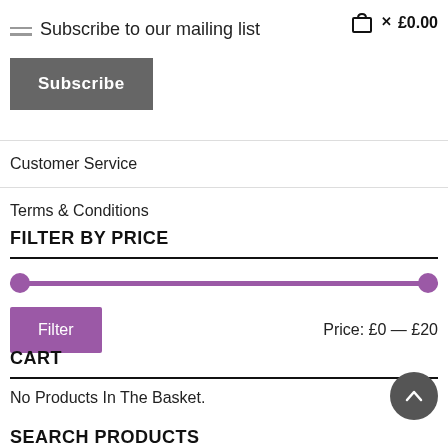Subscribe to our mailing list  £0.00
Subscribe
Customer Service
Terms & Conditions
FILTER BY PRICE
Filter  Price: £0 — £20
CART
No Products In The Basket.
SEARCH PRODUCTS